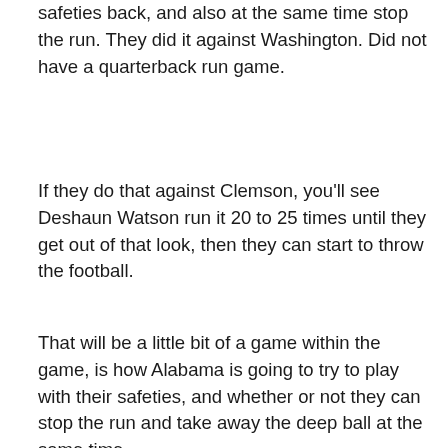safeties back, and also at the same time stop the run. They did it against Washington. Did not have a quarterback run game.
If they do that against Clemson, you'll see Deshaun Watson run it 20 to 25 times until they get out of that look, then they can start to throw the football.
That will be a little bit of a game within the game, is how Alabama is going to try to play with their safeties, and whether or not they can stop the run and take away the deep ball at the same time.
If they're effective in doing that, Clemson will punt, like Washington did, almost every series. You got to make them pay for that would be the big thing.
Then just getting Deshaun Watson into his flow, which